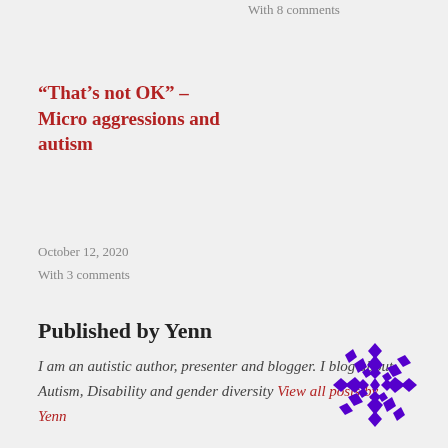With 8 comments
“That’s not OK” – Micro aggressions and autism
October 12, 2020
With 3 comments
Published by Yenn
I am an autistic author, presenter and blogger. I blog about Autism, Disability and gender diversity View all posts by Yenn
[Figure (logo): Purple geometric snowflake/quilt pattern logo for Yenn's blog]